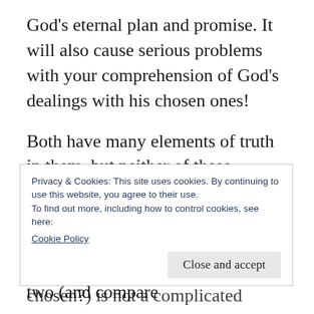God’s eternal plan and promise. It will also cause serious problems with your comprehension of God’s dealings with his chosen ones!
Both have many elements of truth in them, but neither of these ‘doctrines of man’ present an accurate description of biblical ‘election’. Here is an article where I explain the difference between the two (and compare both to what the Bible truly teaches on
Privacy & Cookies: This site uses cookies. By continuing to use this website, you agree to their use.
To find out more, including how to control cookies, see here:
Cookie Policy
Close and accept
chosen?) is not a complicated matter; it is